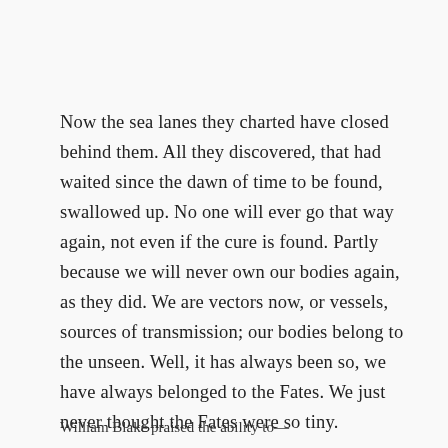Now the sea lanes they charted have closed behind them. All they discovered, that had waited since the dawn of time to be found, swallowed up. No one will ever go that way again, not even if the cure is found. Partly because we will never own our bodies again, as they did. We are vectors now, or vessels, sources of transmission; our bodies belong to the unseen. Well, it has always been so, we have always belonged to the Fates. We just never thought the Fates were so tiny.
William Blake praised the ability to—